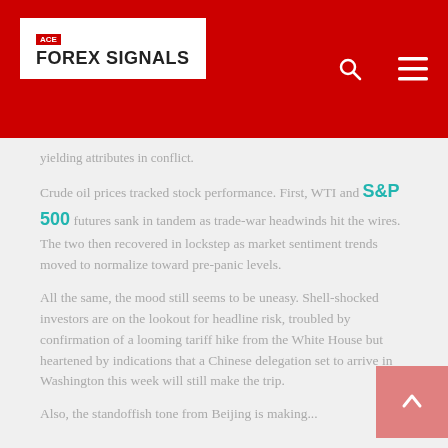ACE FOREX SIGNALS
yielding attributes in conflict.
Crude oil prices tracked stock performance. First, WTI and S&P 500 futures sank in tandem as trade-war headwinds hit the wires. The two then recovered in lockstep as market sentiment trends moved to normalize toward pre-panic levels.
All the same, the mood still seems to be uneasy. Shell-shocked investors are on the lookout for headline risk, troubled by confirmation of a looming tariff hike from the White House but heartened by indications that a Chinese delegation set to arrive in Washington this week will still make the trip.
Also, the standoffish tone from Beijing is making...